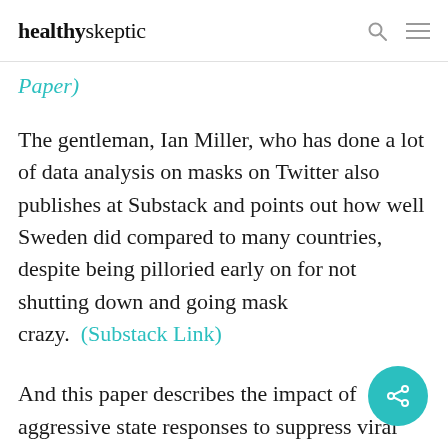healthyskeptic
Paper)
The gentleman, Ian Miller, who has done a lot of data analysis on masks on Twitter also publishes at Substack and points out how well Sweden did compared to many countries, despite being pilloried early on for not shutting down and going mask crazy.  (Substack Link)
And this paper describes the impact of aggressive state responses to suppress viral spread–the harder a state tried, the